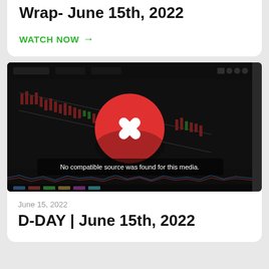Wrap- June 15th, 2022
WATCH NOW →
[Figure (screenshot): Trading chart screenshot with a red circle X error icon overlay and text 'No compatible source was found for this media.']
June 15, 2022
D-DAY | June 15th, 2022